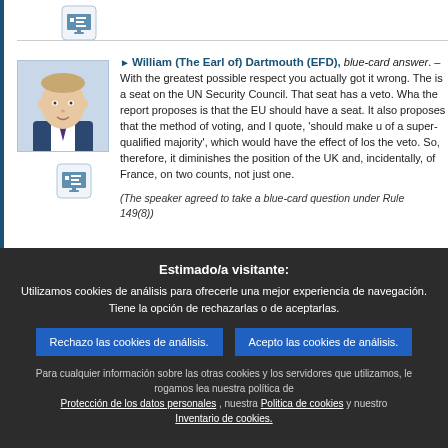[Figure (photo): Portrait photo of William (The Earl of) Dartmouth, a middle-aged man in a suit]
William (The Earl of) Dartmouth (EFD), blue-card answer. – With the greatest possible respect you actually got it wrong. There is a seat on the UN Security Council. That seat has a veto. What the report proposes is that the EU should have a seat. It also proposes that the method of voting, and I quote, 'should make use of a super-qualified majority', which would have the effect of losing the veto. So, therefore, it diminishes the position of the UK and, incidentally, of France, on two counts, not just one.
(The speaker agreed to take a blue-card question under Rule 149(8))
Estimado/a visitante:
Utilizamos cookies de análisis para ofrecerle una mejor experiencia de navegación. Tiene la opción de rechazarlas o de aceptarlas.
Rechazo las cookies de análisis.
Acepto las cookies de análisis.
Para cualquier información sobre las otras cookies y los servidores que utilizamos, le rogamos lea nuestra política de Protección de los datos personales , nuestra Politica de cookies y nuestro Inventario de cookies.